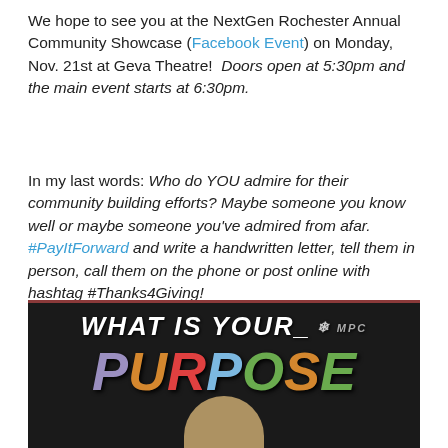We hope to see you at the NextGen Rochester Annual Community Showcase (Facebook Event) on Monday, Nov. 21st at Geva Theatre!  Doors open at 5:30pm and the main event starts at 6:30pm.
In my last words: Who do YOU admire for their community building efforts? Maybe someone you know well or maybe someone you've admired from afar. #PayItForward and write a handwritten letter, tell them in person, call them on the phone or post online with hashtag #Thanks4Giving!
– Andrew Brady
[Figure (photo): Photo of a sign reading 'WHAT IS YOUR PURPOSE_' with colorful large letters spelling PURPOSE and a person visible at the bottom of the image]